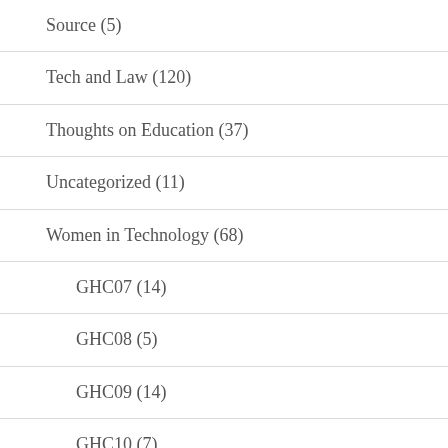Source (5)
Tech and Law (120)
Thoughts on Education (37)
Uncategorized (11)
Women in Technology (68)
GHC07 (14)
GHC08 (5)
GHC09 (14)
GHC10 (7)